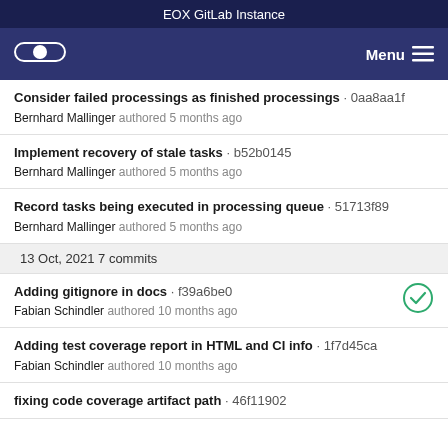EOX GitLab Instance
Consider failed processings as finished processings · 0aa8aa1f
Bernhard Mallinger authored 5 months ago
Implement recovery of stale tasks · b52b0145
Bernhard Mallinger authored 5 months ago
Record tasks being executed in processing queue · 51713f89
Bernhard Mallinger authored 5 months ago
13 Oct, 2021 7 commits
Adding gitignore in docs · f39a6be0
Fabian Schindler authored 10 months ago
Adding test coverage report in HTML and CI info · 1f7d45ca
Fabian Schindler authored 10 months ago
fixing code coverage artifact path · 46f11902